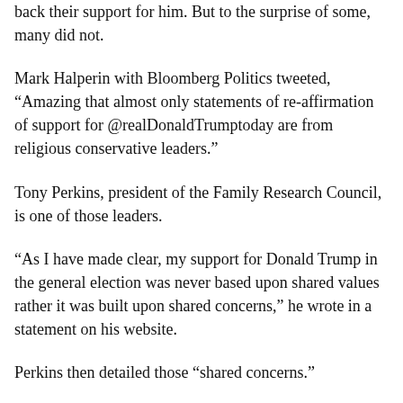back their support for him. But to the surprise of some, many did not.
Mark Halperin with Bloomberg Politics tweeted, “Amazing that almost only statements of re-affirmation of support for @realDonaldTrumptoday are from religious conservative leaders.”
Tony Perkins, president of the Family Research Council, is one of those leaders.
“As I have made clear, my support for Donald Trump in the general election was never based upon shared values rather it was built upon shared concerns,” he wrote in a statement on his website.
Perkins then detailed those “shared concerns.”